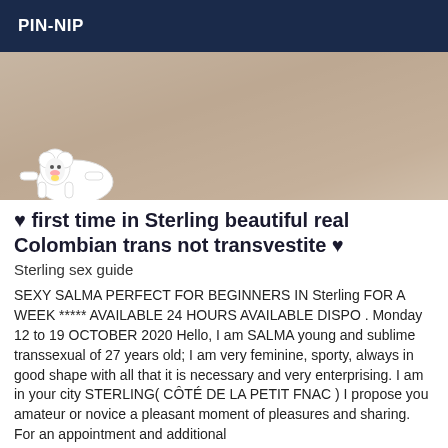PIN-NIP
[Figure (photo): Photo with cartoon bear overlay at bottom left]
♥ first time in Sterling beautiful real Colombian trans not transvestite ♥
Sterling sex guide
SEXY SALMA PERFECT FOR BEGINNERS IN Sterling FOR A WEEK ***** AVAILABLE 24 HOURS AVAILABLE DISPO . Monday 12 to 19 OCTOBER 2020 Hello, I am SALMA young and sublime transsexual of 27 years old; I am very feminine, sporty, always in good shape with all that it is necessary and very enterprising. I am in your city STERLING( CÔTÉ DE LA PETIT FNAC ) I propose you amateur or novice a pleasant moment of pleasures and sharing. For an appointment and additional